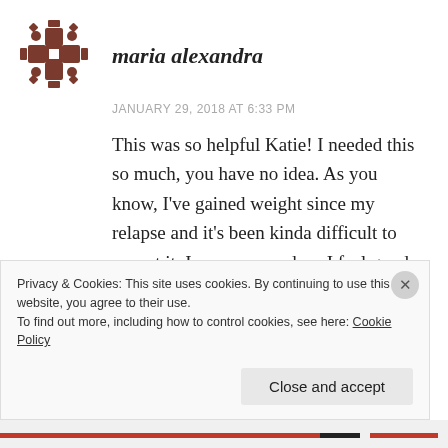[Figure (illustration): Avatar icon: decorative geometric/snowflake pattern in brown/rust color]
maria alexandra
JANUARY 29, 2018 AT 6:33 PM
This was so helpful Katie! I needed this so much, you have no idea. As you know, I've gained weight since my relapse and it's been kinda difficult to accept it. I mean some days I feel good about it and other days I just wanna hide from everybody so they can't see me. I don't regret choosing recovery but still...
Privacy & Cookies: This site uses cookies. By continuing to use this website, you agree to their use.
To find out more, including how to control cookies, see here: Cookie Policy
Close and accept